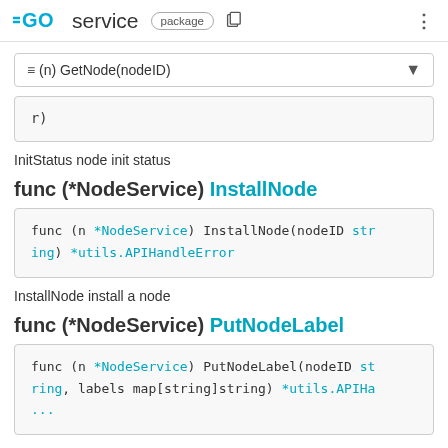GO service package
≡ (n) GetNode(nodeID)
r)
InitStatus node init status
func (*NodeService) InstallNode
func (n *NodeService) InstallNode(nodeID string) *utils.APIHandleError
InstallNode install a node
func (*NodeService) PutNodeLabel
func (n *NodeService) PutNodeLabel(nodeID string, labels map[string]string) *utils.APIHa...